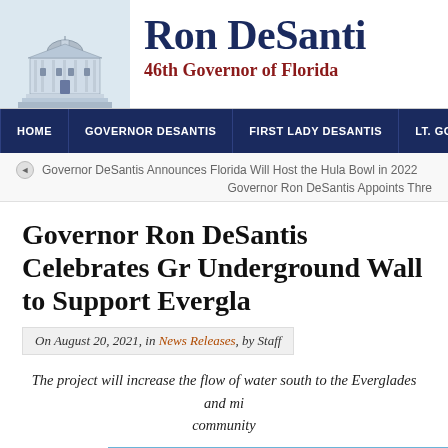Ron DeSantis — 46th Governor of Florida
HOME | GOVERNOR DESANTIS | FIRST LADY DESANTIS | LT. GOV. N
Governor DeSantis Announces Florida Will Host the Hula Bowl in 2022
Governor Ron DeSantis Appoints Thre
Governor Ron DeSantis Celebrates Gr Underground Wall to Support Evergla
On August 20, 2021, in News Releases, by Staff
The project will increase the flow of water south to the Everglades and mi community
[Figure (photo): Outdoor construction or environmental project photo, blue sky visible, earthen or sandy ground]